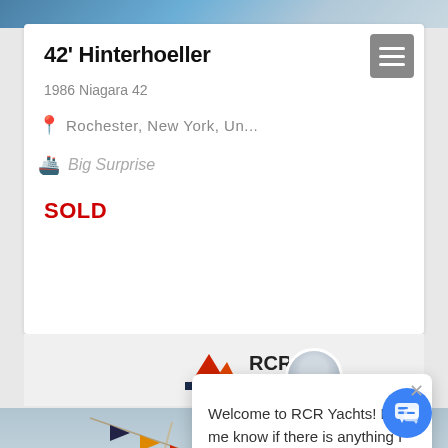[Figure (photo): Top banner image of a boat/yacht scene]
42' Hinterhoeller
1986 Niagara 42
Rochester, New York, Un...
Big Surprise
SOLD
[Figure (logo): RCR Yachts logo]
[Figure (photo): Photo of a sailboat with flags on the mast against a cloudy sky]
Welcome to RCR Yachts! Let me know if there is anything I can help you with